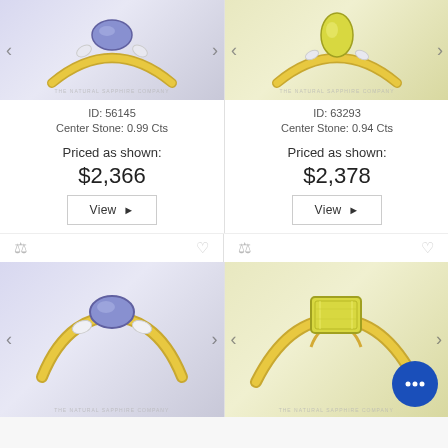[Figure (photo): Blue sapphire ring with diamond accents in yellow gold setting, top-down view, The Natural Sapphire Company watermark]
ID: 56145
Center Stone: 0.99 Cts
Priced as shown:
$2,366
View
[Figure (photo): Yellow sapphire ring in yellow gold setting, top-down view, The Natural Sapphire Company watermark]
ID: 63293
Center Stone: 0.94 Cts
Priced as shown:
$2,378
View
[Figure (photo): Blue sapphire oval ring with diamond side stones in yellow gold setting, The Natural Sapphire Company watermark]
[Figure (photo): Yellow sapphire emerald cut ring in yellow gold setting with chat bubble overlay, The Natural Sapphire Company watermark]